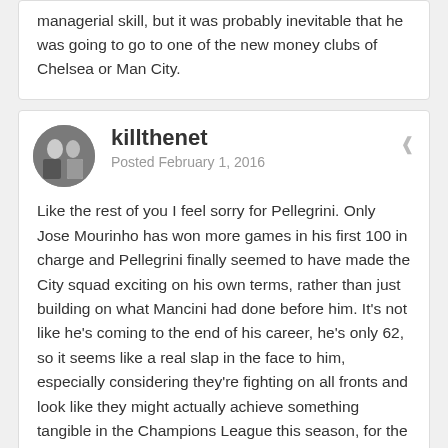managerial skill, but it was probably inevitable that he was going to go to one of the new money clubs of Chelsea or Man City.
killthethenet
Posted February 1, 2016
Like the rest of you I feel sorry for Pellegrini. Only Jose Mourinho has won more games in his first 100 in charge and Pellegrini finally seemed to have made the City squad exciting on his own terms, rather than just building on what Mancini had done before him. It's not like he's coming to the end of his career, he's only 62, so it seems like a real slap in the face to him, especially considering they're fighting on all fronts and look like they might actually achieve something tangible in the Champions League this season, for the first time in their history. The news stories all say that he's on board with the decision, but it's not really something he can argue with is it?
I've never been a fan of Pep, he is constantly riding the coat tails of other managers. He lucked out taking the Barca job after Riikaard and